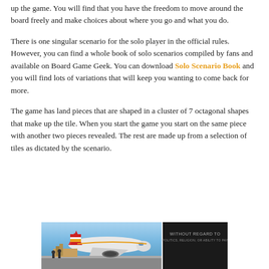up the game. You will find that you have the freedom to move around the board freely and make choices about where you go and what you do.
There is one singular scenario for the solo player in the official rules. However, you can find a whole book of solo scenarios compiled by fans and available on Board Game Geek. You can download Solo Scenario Book and you will find lots of variations that will keep you wanting to come back for more.
The game has land pieces that are shaped in a cluster of 7 octagonal shapes that make up the tile. When you start the game you start on the same piece with another two pieces revealed. The rest are made up from a selection of tiles as dictated by the scenario.
[Figure (photo): Advertisement banner showing an airplane being loaded with cargo on the left side against a sky background, and a dark panel on the right with white bold text reading WITHOUT REGARD TO and smaller subtext.]